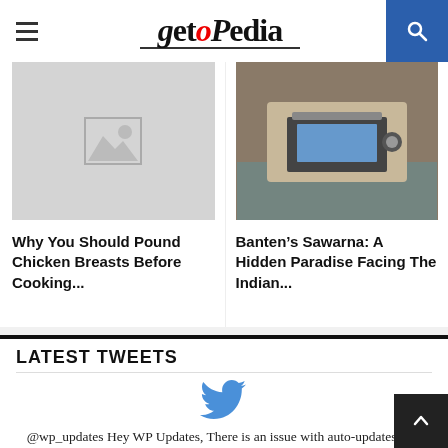getopedia
[Figure (photo): Gray placeholder image with photo icon]
[Figure (photo): Photo of person working on laptop at wooden desk]
Why You Should Pound Chicken Breasts Before Cooking...
Banten’s Sawarna: A Hidden Paradise Facing The Indian...
LATEST TWEETS
[Figure (other): Twitter bird icon in blue]
@wp_updates Hey WP Updates, There is an issue with auto-updates - all updates come with error:... https://t.co/E5aULz4RSU
21-02-2020